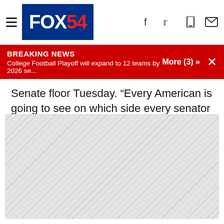FOX54
BREAKING NEWS
College Football Playoff will expand to 12 teams by 2026 se... More (3) »
Senate floor Tuesday. “Every American is going to see on which side every senator stands.”
[Figure (other): Gray diagonal hatched placeholder area filling lower portion of page]